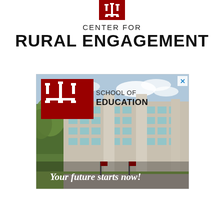[Figure (logo): Indiana University trident logo (IU) in red square, top center of page]
CENTER FOR
RURAL ENGAGEMENT
[Figure (photo): Advertisement banner for IU School of Education. Shows a multi-story modern building exterior with trees. Overlaid IU logo in red square with 'SCHOOL OF EDUCATION' text. Cursive text at bottom reads 'Your future starts now!' with an X close button in top right corner.]